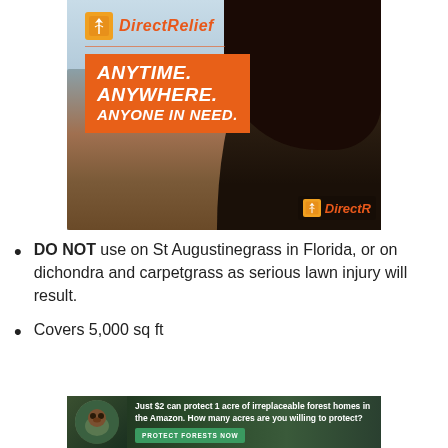[Figure (photo): Direct Relief advertisement showing a person wearing a black Direct Relief shirt looking over a disaster/rubble scene, with orange slogan text 'ANYTIME. ANYWHERE. ANYONE IN NEED.' and the Direct Relief logo.]
DO NOT use on St Augustinegrass in Florida, or on dichondra and carpetgrass as serious lawn injury will result.
Covers 5,000 sq ft
[Figure (photo): Advertisement banner: 'Just $2 can protect 1 acre of irreplaceable forest homes in the Amazon. How many acres are you willing to protect?' with a green 'PROTECT FORESTS NOW' button and an image of a rainforest animal.]